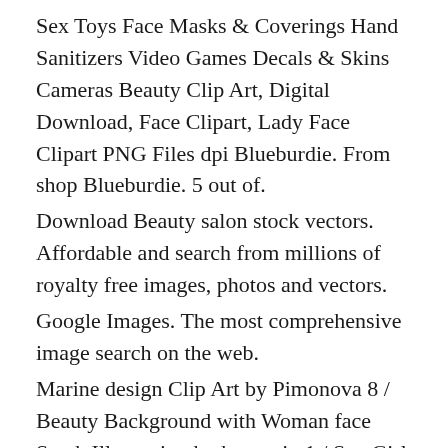Sex Toys Face Masks & Coverings Hand Sanitizers Video Games Decals & Skins Cameras Beauty Clip Art, Digital Download, Face Clipart, Lady Face Clipart PNG Files dpi Blueburdie. From shop Blueburdie. 5 out of.
Download Beauty salon stock vectors. Affordable and search from millions of royalty free images, photos and vectors.
Google Images. The most comprehensive image search on the web.
Marine design Clip Art by Pimonova 8 / Beauty Background with Woman face Stock Illustration by havezein 1 / Spa Girl Stock Illustration by moneca 71 / 7, Yoga lotus icon / logo Stock Illustrations by marish / 24, Mod Mama To Be Stock Illustration by volusariot 71 / 5, butterfly of blue color on a white